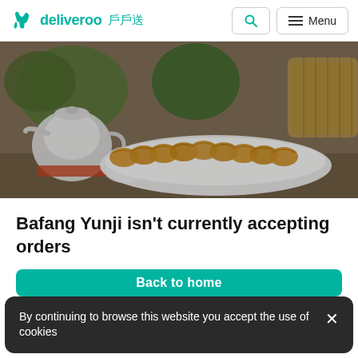deliveroo 戶戶送
[Figure (photo): Food photo showing pan-fried dumplings/gyoza on a white plate, with white teapot, green vegetables and bamboo steamer in background]
Bafang Yunji isn't currently accepting orders
Back to home
By continuing to browse this website you accept the use of cookies